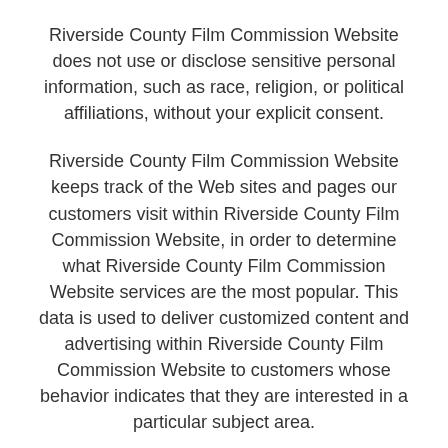Riverside County Film Commission Website does not use or disclose sensitive personal information, such as race, religion, or political affiliations, without your explicit consent.
Riverside County Film Commission Website keeps track of the Web sites and pages our customers visit within Riverside County Film Commission Website, in order to determine what Riverside County Film Commission Website services are the most popular. This data is used to deliver customized content and advertising within Riverside County Film Commission Website to customers whose behavior indicates that they are interested in a particular subject area.
Riverside County Film Commission Website Web sites will disclose your personal information, without notice, if required to do so by law or...